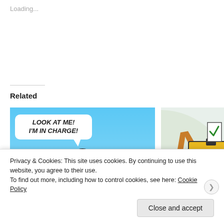Loading...
Related
[Figure (illustration): Blue background with dark silhouette of a person in a suit with arms raised, and a speech bubble saying LOOK AT ME! I'M IN CHARGE!]
Things will get worse and worse until they can get no worse. Only then can the change we all so desperately need begin
[Figure (illustration): Partial view of a circular logo/image with orange letters and a yellow ballot box with a checkmark, on a light green background]
A New Party for All
May 16, 2021
In "Changing politics for
Privacy & Cookies: This site uses cookies. By continuing to use this website, you agree to their use.
To find out more, including how to control cookies, see here: Cookie Policy
Close and accept